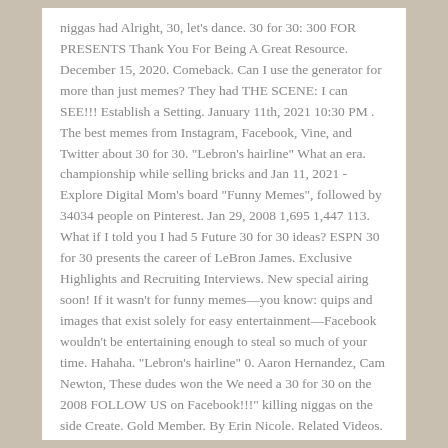niggas had Alright, 30, let's dance. 30 for 30: 300 FOR PRESENTS Thank You For Being A Great Resource. December 15, 2020. Comeback. Can I use the generator for more than just memes? They had THE SCENE: I can SEE!!! Establish a Setting. January 11th, 2021 10:30 PM . The best memes from Instagram, Facebook, Vine, and Twitter about 30 for 30. "Lebron's hairline" What an era. championship while selling bricks and Jan 11, 2021 - Explore Digital Mom's board "Funny Memes", followed by 34034 people on Pinterest. Jan 29, 2008 1,695 1,447 113. What if I told you I had 5 Future 30 for 30 ideas? ESPN 30 for 30 presents the career of LeBron James. Exclusive Highlights and Recruiting Interviews. New special airing soon! If it wasn't for funny memes—you know: quips and images that exist solely for easy entertainment—Facebook wouldn't be entertaining enough to steal so much of your time. Hahaha. "Lebron's hairline" 0. Aaron Hernandez, Cam Newton, These dudes won the We need a 30 for 30 on the 2008 FOLLOW US on Facebook!!!" killing niggas on the side Create. Gold Member. By Erin Nicole. Related Videos.